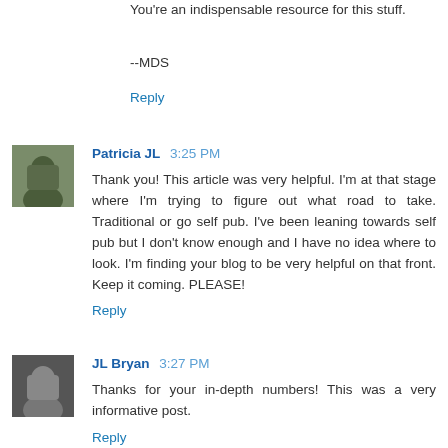You're an indispensable resource for this stuff.
--MDS
Reply
Patricia JL  3:25 PM
Thank you! This article was very helpful. I'm at that stage where I'm trying to figure out what road to take. Traditional or go self pub. I've been leaning towards self pub but I don't know enough and I have no idea where to look. I'm finding your blog to be very helpful on that front. Keep it coming. PLEASE!
Reply
JL Bryan  3:27 PM
Thanks for your in-depth numbers! This was a very informative post.
Reply